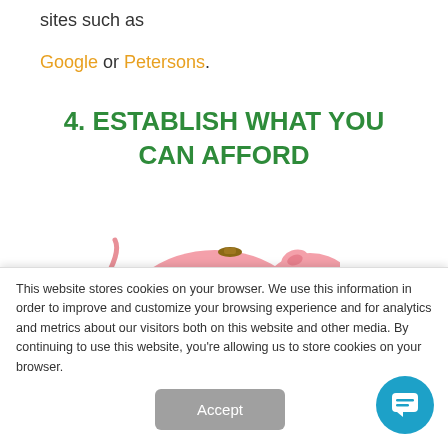sites such as
Google or Petersons.
4. ESTABLISH WHAT YOU CAN AFFORD
[Figure (illustration): Pink piggy bank illustration, partially cropped at bottom]
This website stores cookies on your browser. We use this information in order to improve and customize your browsing experience and for analytics and metrics about our visitors both on this website and other media. By continuing to use this website, you're allowing us to store cookies on your browser.
Accept